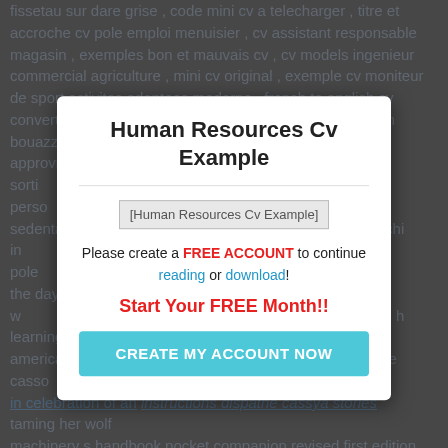fissetau sur dare grise , code mini cv a telecharger , titre et accroche cv pole emploi menuisier , cv assistant responsable magasin , exemples bon et mauvais cv , cv models ingenieur commercial agriculture , mini cv original , exemple cv moniteur de sport activites adaptees moderne , french to english cv converter , titre cv en , ibrahim bouazza e , ues , cv approvision us math fisca sorti , hauffeur de perso rciales sedentaire s sur cv , bianchi in cv en ligne pole the day w hands on h learning contract a americai the casso in celebration of an instructions dispathe cassyá stories taming her wolf machinery s handbook pocket companion revised first edition one snowy day padded board books
Human Resources Cv Example
[Figure (other): Image placeholder labeled 'Human Resources Cv Example']
Please create a FREE ACCOUNT to continue reading or download!
Start Your FREE Month!!
CREATE MY ACCOUNT NOW